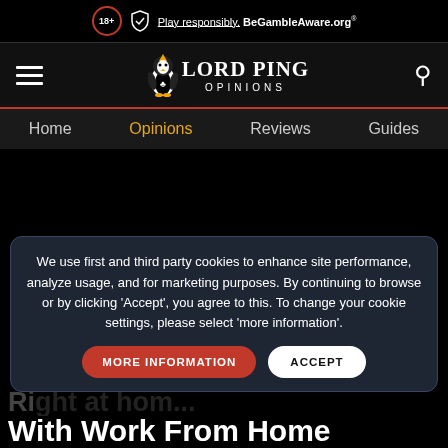18+ Play responsibly. BeGambleAware.org
[Figure (logo): Lord Ping Opinions logo with penguin mascot, hamburger menu icon, and search icon on dark background]
Home  Opinions  Reviews  Guides
We use first and third party cookies to enhance site performance, analyze usage, and for marketing purposes. By continuing to browse or by clicking 'Accept', you agree to this. To change your cookie settings, please select 'more information'.
MORE INFORMATION  ACCEPT
With Work From Home